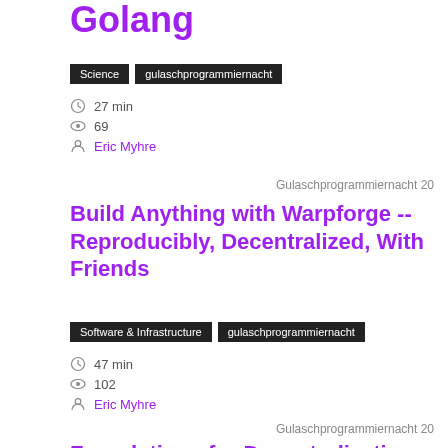Golang
Science  gulaschprogrammiernacht
27 min
69
Eric Myhre
Gulaschprogrammiernacht 20
Build Anything with Warpforge -- Reproducibly, Decentralized, With Friends
Software & Infrastructure  gulaschprogrammiernacht
47 min
102
Eric Myhre
Gulaschprogrammiernacht 20
Foundations for Decentralization: Data with IPLD